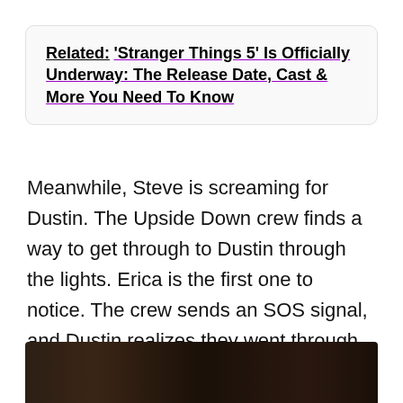Related: 'Stranger Things 5' Is Officially Underway: The Release Date, Cast & More You Need To Know
Meanwhile, Steve is screaming for Dustin. The Upside Down crew finds a way to get through to Dustin through the lights. Erica is the first one to notice. The crew sends an SOS signal, and Dustin realizes they went through Watergate.
[Figure (photo): Dark indoor scene, appears to be a dimly lit room with warm lighting]